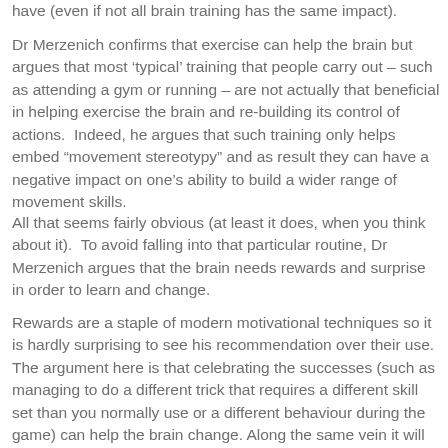have (even if not all brain training has the same impact).
Dr Merzenich confirms that exercise can help the brain but argues that most ‘typical’ training that people carry out – such as attending a gym or running – are not actually that beneficial in helping exercise the brain and re-building its control of actions.  Indeed, he argues that such training only helps embed “movement stereotypy” and as result they can have a negative impact on one’s ability to build a wider range of movement skills.
All that seems fairly obvious (at least it does, when you think about it).  To avoid falling into that particular routine, Dr Merzenich argues that the brain needs rewards and surprise in order to learn and change.
Rewards are a staple of modern motivational techniques so it is hardly surprising to see his recommendation over their use.  The argument here is that celebrating the successes (such as managing to do a different trick that requires a different skill set than you normally use or a different behaviour during the game) can help the brain change. Along the same vein it will also cause dopamine to be